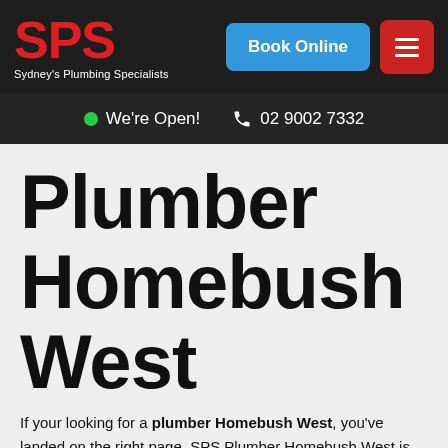SPS — Sydney's Plumbing Specialists
We're Open!  02 9002 7332
Plumber Homebush West
If your looking for a plumber Homebush West, you've landed on the right page. SPS Plumber Homebush West is...